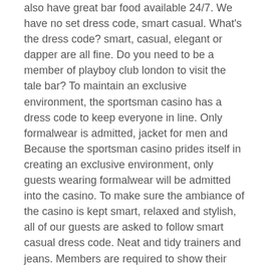also have great bar food available 24/7. We have no set dress code, smart casual. What's the dress code? smart, casual, elegant or dapper are all fine. Do you need to be a member of playboy club london to visit the tale bar? To maintain an exclusive environment, the sportsman casino has a dress code to keep everyone in line. Only formalwear is admitted, jacket for men and Because the sportsman casino prides itself in creating an exclusive environment, only guests wearing formalwear will be admitted into the casino. To make sure the ambiance of the casino is kept smart, relaxed and stylish, all of our guests are asked to follow smart casual dress code. Neat and tidy trainers and jeans. Members are required to show their identification before entering the casino. One must be over. What's the dress code? smart, casual, elegant or dapper are all fine. Do you need to be a member of